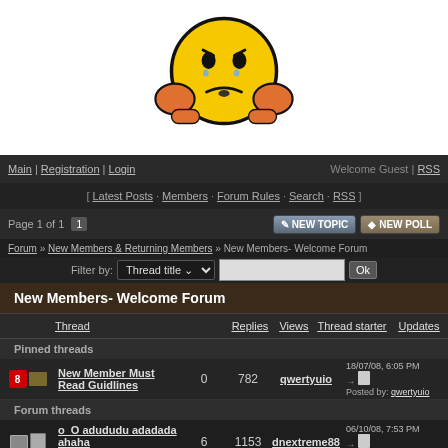[Figure (illustration): Yellow worried/embarrassed emoticon face with hands on cheeks, white background]
Main | Registration | Login    Welcome Guest | RSS
[ Latest Posts · Members · Forum Rules · Search · RSS ]
Page 1 of 1  1   NEW TOPIC  NEW POLL
Forum » New Members & Returning Members » New Members- Welcome Forum
Filter by: Thread title  Ok
New Members- Welcome Forum
| Thread | Replies | Views | Thread starter | Updates |
| --- | --- | --- | --- | --- |
| New Member Must Read Guidlines | 0 | 782 | qwertyuio | 18/07/08, 6:05 PM
Posted by: qwertyuio |
| o  O adududu adadada ahaha
random title | 6 | 1153 | dnextreme88 | 06/10/08, 7:53 PM
Posted by: enmeh |
| Technically new | 4 | 718 | Shadowfox | 11/09/08, 7:15 PM
Posted by: Dak |